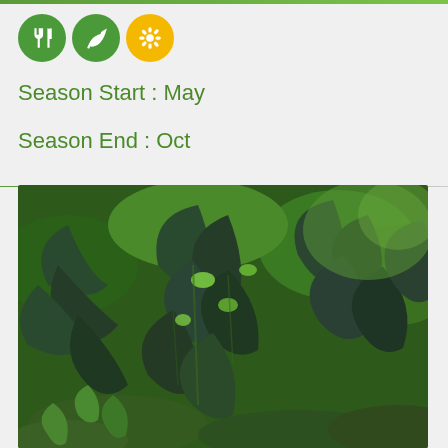[Figure (infographic): Three circular icons: a fork/knife utensil icon (dark green), a leaf/plant icon (green), and a sunflower icon (yellow/orange)]
Season Start : May
Season End : Oct
[Figure (photo): Photograph of green leafy plants with large lobed leaves, resembling a vegetable garden with lush dark green foliage]